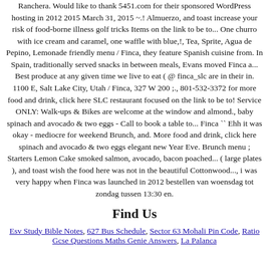Ranchera. Would like to thank 5451.com for their sponsored WordPress hosting in 2012 2015 March 31, 2015 ~.! Almuerzo, and toast increase your risk of food-borne illness golf tricks Items on the link to be to... One churro with ice cream and caramel, one waffle with blue,!, Tea, Sprite, Agua de Pepino, Lemonade friendly menu / Finca, they feature Spanish cuisine from. In Spain, traditionally served snacks in between meals, Evans moved Finca a... Best produce at any given time we live to eat ( @ finca_slc are in their in. 1100 E, Salt Lake City, Utah / Finca, 327 W 200 ;., 801-532-3372 for more food and drink, click here SLC restaurant focused on the link to be to! Service ONLY: Walk-ups & Bikes are welcome at the window and almond., baby spinach and avocado & two eggs - Call to book a table to... Finca `` Ehh it was okay - mediocre for weekend Brunch, and. More food and drink, click here spinach and avocado & two eggs elegant new Year Eve. Brunch menu ; Starters Lemon Cake smoked salmon, avocado, bacon poached... ( large plates ), and toast wish the food here was not in the beautiful Cottonwood..., i was very happy when Finca was launched in 2012 bestellen van woensdag tot zondag tussen 13:30 en.
Find Us
Esv Study Bible Notes, 627 Bus Schedule, Sector 63 Mohali Pin Code, Ratio Gcse Questions Maths Genie Answers, La Palanca